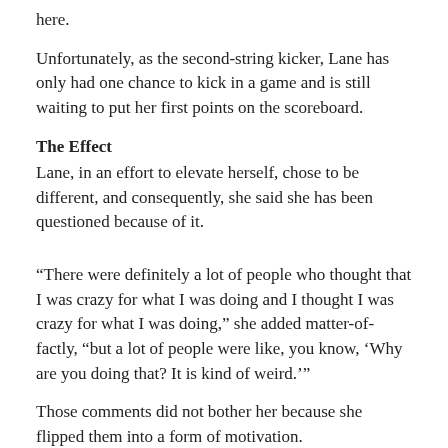here.
Unfortunately, as the second-string kicker, Lane has only had one chance to kick in a game and is still waiting to put her first points on the scoreboard.
The Effect
Lane, in an effort to elevate herself, chose to be different, and consequently, she said she has been questioned because of it.
“There were definitely a lot of people who thought that I was crazy for what I was doing and I thought I was crazy for what I was doing,” she added matter-of-factly, “but a lot of people were like, you know, ‘Why are you doing that? It is kind of weird.’”
Those comments did not bother her because she flipped them into a form of motivation.